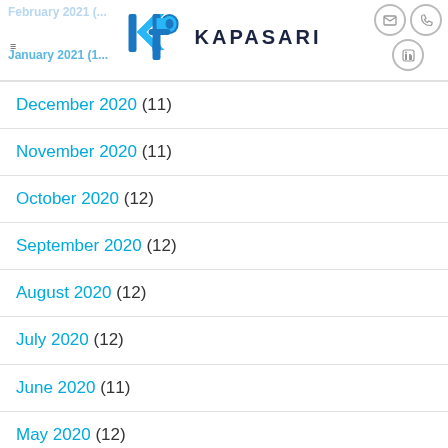Kapasari navigation header with logo and icons
February 2021 (partial)
January 2021 (1)
December 2020 (11)
November 2020 (11)
October 2020 (12)
September 2020 (12)
August 2020 (12)
July 2020 (12)
June 2020 (11)
May 2020 (12)
April 2020 (11)
March 2020 (11)